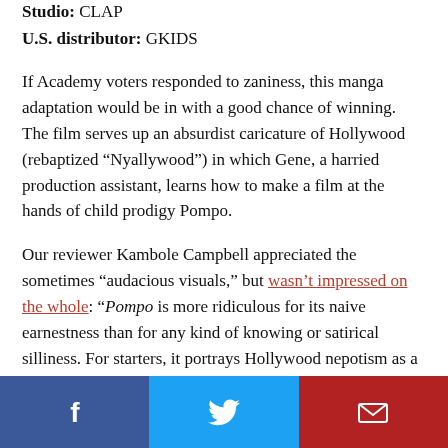Studio: CLAP
U.S. distributor: GKIDS
If Academy voters responded to zaniness, this manga adaptation would be in with a good chance of winning. The film serves up an absurdist caricature of Hollywood (rebaptized “Nyallywood”) in which Gene, a harried production assistant, learns how to make a film at the hands of child prodigy Pompo.
Our reviewer Kambole Campbell appreciated the sometimes “audacious visuals,” but wasn’t impressed on the whole: “Pompo is more ridiculous for its naive earnestness than for any kind of knowing or satirical silliness. For starters, it portrays Hollywood nepotism as a good, uncomplicated thing rather than a symptom of a
[Figure (other): Social sharing bar with Facebook, Twitter, and email buttons]